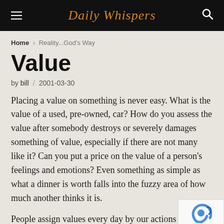Daily Whispers
Home > Reality...God's Way
Value
by bill / 2001-03-30
Placing a value on something is never easy. What is the value of a used, pre-owned, car? How do you assess the value after somebody destroys or severely damages something of value, especially if there are not many like it? Can you put a price on the value of a person's feelings and emotions? Even something as simple as what a dinner is worth falls into the fuzzy area of how much another thinks it is.
People assign values every day by our actions in